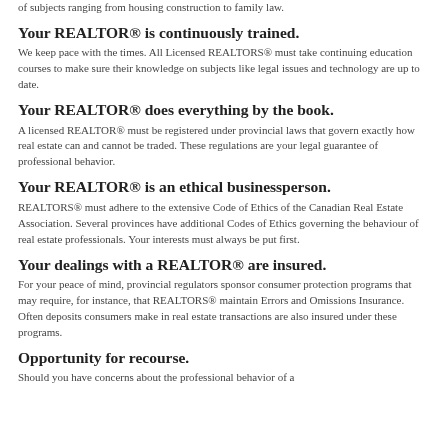of subjects ranging from housing construction to family law.
Your REALTOR® is continuously trained.
We keep pace with the times. All Licensed REALTORS® must take continuing education courses to make sure their knowledge on subjects like legal issues and technology are up to date.
Your REALTOR® does everything by the book.
A licensed REALTOR® must be registered under provincial laws that govern exactly how real estate can and cannot be traded. These regulations are your legal guarantee of professional behavior.
Your REALTOR® is an ethical businessperson.
REALTORS® must adhere to the extensive Code of Ethics of the Canadian Real Estate Association. Several provinces have additional Codes of Ethics governing the behaviour of real estate professionals. Your interests must always be put first.
Your dealings with a REALTOR® are insured.
For your peace of mind, provincial regulators sponsor consumer protection programs that may require, for instance, that REALTORS® maintain Errors and Omissions Insurance. Often deposits consumers make in real estate transactions are also insured under these programs.
Opportunity for recourse.
Should you have concerns about the professional behavior of a